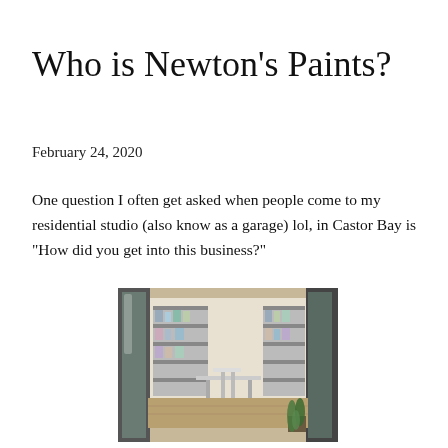Who is Newton's Paints?
February 24, 2020
One question I often get asked when people come to my residential studio (also know as a garage) lol, in Castor Bay is "How did you get into this business?"
[Figure (photo): Interior view of a residential studio/garage with shelving units stocked with paint supplies, a stool, table, and plant in the foreground.]